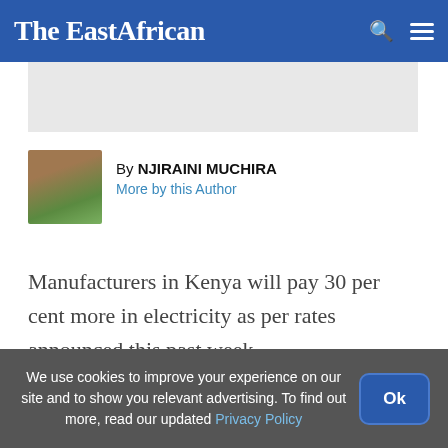The EastAfrican
[Figure (other): Gray advertisement placeholder banner]
By NJIRAINI MUCHIRA
More by this Author
Manufacturers in Kenya will pay 30 per cent more in electricity as per rates announced this past week.
We use cookies to improve your experience on our site and to show you relevant advertising. To find out more, read our updated Privacy Policy